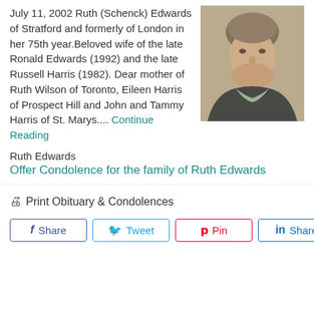July 11, 2002 Ruth (Schenck) Edwards of Stratford and formerly of London in her 75th year.Beloved wife of the late Ronald Edwards (1992) and the late Russell Harris (1982). Dear mother of Ruth Wilson of Toronto, Eileen Harris of Prospect Hill and John and Tammy Harris of St. Marys.... Continue Reading
[Figure (photo): Portrait photograph of Ruth Edwards, an elderly woman with short hair wearing a dark jacket and light green top, shown from the shoulders up]
Ruth Edwards
Offer Condolence for the family of Ruth Edwards
Print Obituary & Condolences
Share   Tweet   Pin   Share